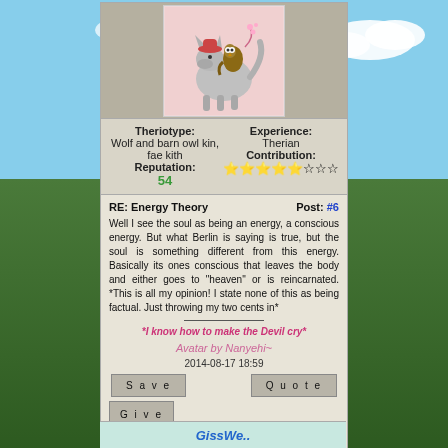[Figure (illustration): Cartoon wolf with barn owl on its back, pink background, illustrated character avatar]
| Left | Right |
| --- | --- |
| Theriotype: | Experience: |
| Wolf and barn owl kin, fae kith | Therian |
| Reputation: | Contribution: |
| 54 | ★★★★★☆☆☆ |
RE: Energy Theory
Post: #6
Well I see the soul as being an energy, a conscious energy. But what Berlin is saying is true, but the soul is something different from this energy. Basically its ones conscious that leaves the body and either goes to "heaven" or is reincarnated. *This is all my opinion! I state none of this as being factual. Just throwing my two cents in*
*I know how to make the Devil cry*
Avatar by Nanyehi~
2014-08-17 18:59
Save
Quote
Give Thanks